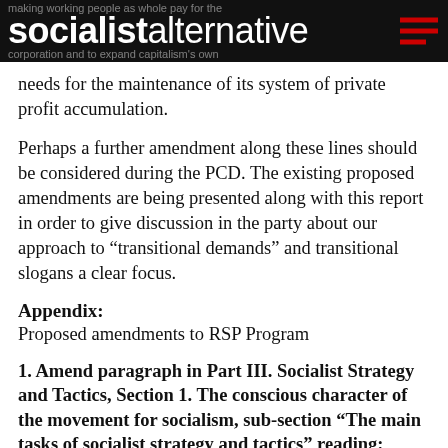socialistalternative
needs for the maintenance of its system of private profit accumulation.
Perhaps a further amendment along these lines should be considered during the PCD. The existing proposed amendments are being presented along with this report in order to give discussion in the party about our approach to “transitional demands” and transitional slogans a clear focus.
Appendix:
Proposed amendments to RSP Program
1. Amend paragraph in Part III. Socialist Strategy and Tactics, Section 1. The conscious character of the movement for socialism, sub-section “The main tasks of socialist strategy and tactics” reading: